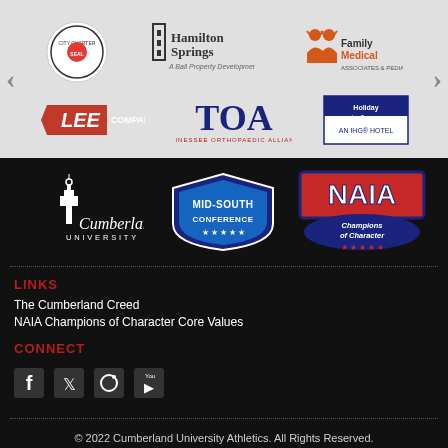[Figure (logo): Sponsor logos carousel: Lee Company, Hamilton Springs, FamilyMedical, TOA (Tennessee Orthopedic Alliance), Holiday Inn Express hotel logo, and a circular badge logo. Navigation arrows on left and right.]
[Figure (logo): Cumberland University logo (white tower icon with script text 'Cumberland' and 'UNIVERSITY' below)]
[Figure (logo): Mid-South Conference badge logo in blue and white with stars]
[Figure (logo): NAIA Champions of Character logo in red, white and blue with stars]
LINKS
The Cumberland Creed
NAIA Champions of Character Core Values
CONNECT
[Figure (infographic): Social media icons: Facebook, Twitter, Instagram, YouTube]
© 2022 Cumberland University Athletics. All Rights Reserved.
One Cumberland Square, Lebanon, TN 37087
Privacy Policy | Terms of Use